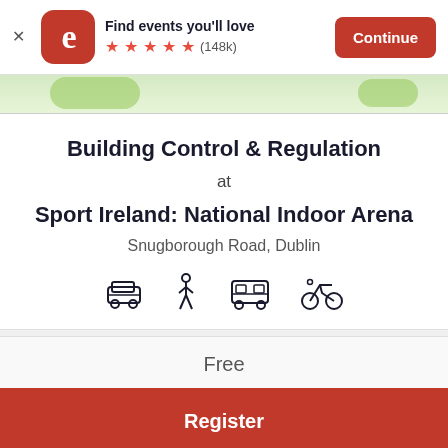[Figure (screenshot): Eventbrite app banner with logo, 'Find events you'll love', 5 stars (148k), and Continue button]
[Figure (map): Map strip showing green areas, partial map view]
Building Control & Regulation
at
Sport Ireland: National Indoor Arena
Snugborough Road, Dublin
[Figure (infographic): Four transport icons: car, walking person, bus, bicycle]
Free
Register